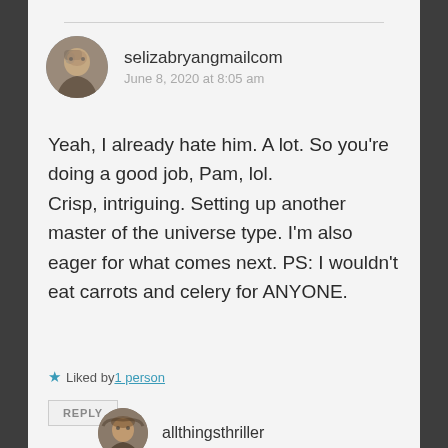selizabryangmailcom
June 8, 2020 at 8:05 am
Yeah, I already hate him. A lot. So you're doing a good job, Pam, lol.
Crisp, intriguing. Setting up another master of the universe type. I'm also eager for what comes next. PS: I wouldn't eat carrots and celery for ANYONE.
Liked by 1 person
REPLY
allthingsthriller